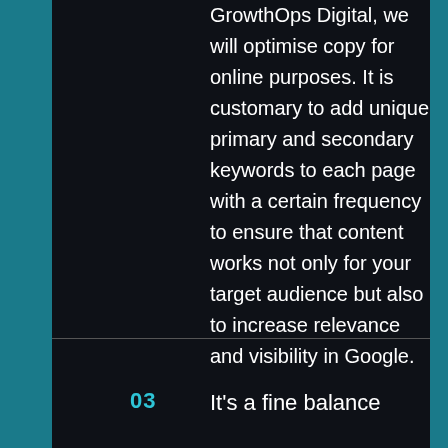GrowthOps Digital, we will optimise copy for online purposes. It is customary to add unique primary and secondary keywords to each page with a certain frequency to ensure that content works not only for your target audience but also to increase relevance and visibility in Google.
03
It's a fine balance